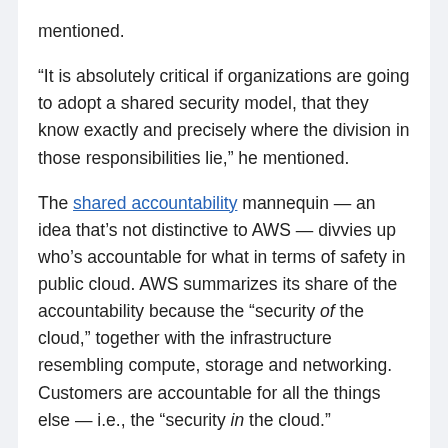mentioned.
“It is absolutely critical if organizations are going to adopt a shared security model, that they know exactly and precisely where the division in those responsibilities lie,” he mentioned.
The shared accountability mannequin — an idea that’s not distinctive to AWS — divvies up who’s accountable for what in terms of safety in public cloud. AWS summarizes its share of the accountability because the “security of the cloud,” together with the infrastructure resembling compute, storage and networking. Customers are accountable for all the things else — i.e., the “security in the cloud.”